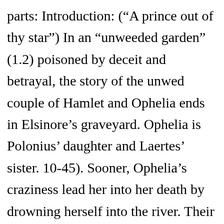parts: Introduction: (“A prince out of thy star”) In an “unweeded garden” (1.2) poisoned by deceit and betrayal, the story of the unwed couple of Hamlet and Ophelia ends in Elsinore’s graveyard. Ophelia is Polonius’ daughter and Laertes’ sister. 10-45). Sooner, Ophelia’s craziness lead her into her death by drowning herself into the river. Their relationship in the past has been filled with many sexual endeavors but once the play starts, it begins its downfall, affecting multiple characters down the line. Nevertheless, they both take matters into